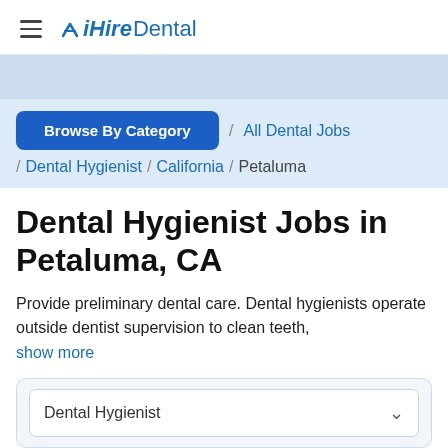iHireDental
Browse By Category / All Dental Jobs / Dental Hygienist / California / Petaluma
Dental Hygienist Jobs in Petaluma, CA
Provide preliminary dental care. Dental hygienists operate outside dentist supervision to clean teeth, show more
Dental Hygienist